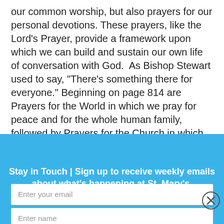our common worship, but also prayers for our personal devotions. These prayers, like the Lord’s Prayer, provide a framework upon which we can build and sustain our own life of conversation with God.  As Bishop Stewart used to say, “There’s something there for everyone.” Beginning on page 814 are Prayers for the World in which we pray for peace and for the whole human family, followed by Prayers for the Church in which we find prayers for the mission of the Church, for our diocese, and for our parish and conditions related to the Church’s life. Then we come upon the Prayers for National Life which center around
Stay in Touch | Sign up to receive weekly emails about what's happening at St. Mary's.